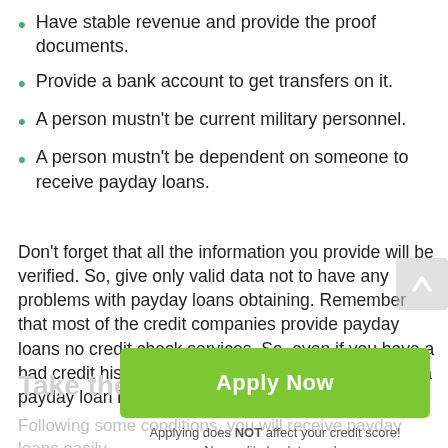Have stable revenue and provide the proof documents.
Provide a bank account to get transfers on it.
A person mustn't be current military personnel.
A person mustn't be dependent on someone to receive payday loans.
Don't forget that all the information you provide will be verified. So, give only valid data not to have any problems with payday loans obtaining. Remember that most of the credit companies provide payday loans no credit check services. So, even if you have a bad credit history, you still have a chance to receive a payday loan in Brandon.
Take the Money Now
Apply Now
Applying does NOT affect your credit score!
No credit check to apply.
Following some conditions, you will receive payday loans easily.